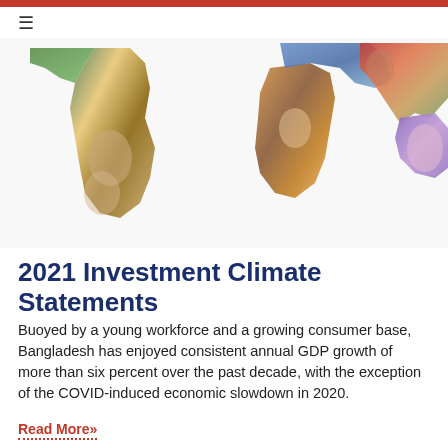≡
[Figure (map): World map composed of colorful collage of currency banknotes and portraits representing different countries, shown on white background, partially cropped at top.]
2021 Investment Climate Statements
Buoyed by a young workforce and a growing consumer base, Bangladesh has enjoyed consistent annual GDP growth of more than six percent over the past decade, with the exception of the COVID-induced economic slowdown in 2020.
Read More»